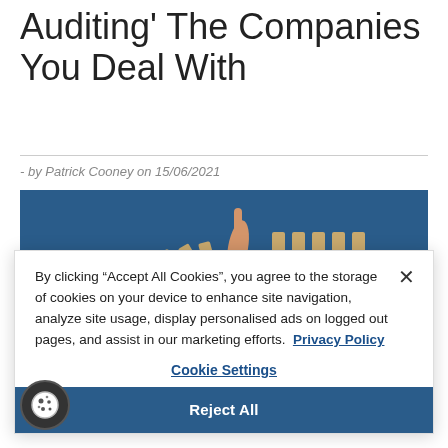Auditing' The Companies You Deal With
- by Patrick Cooney on 15/06/2021
[Figure (photo): A hand stopping falling dominoes against a blue background, with several dominoes still standing to the right.]
By clicking “Accept All Cookies”, you agree to the storage of cookies on your device to enhance site navigation, analyze site usage, display personalised ads on logged out pages, and assist in our marketing efforts.  Privacy Policy
Cookie Settings
Reject All